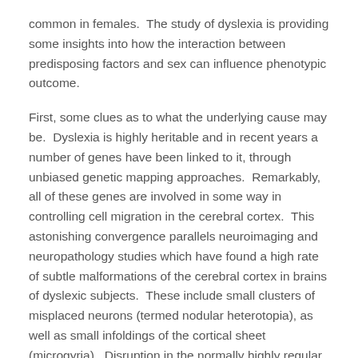common in females.  The study of dyslexia is providing some insights into how the interaction between predisposing factors and sex can influence phenotypic outcome.
First, some clues as to what the underlying cause may be.  Dyslexia is highly heritable and in recent years a number of genes have been linked to it, through unbiased genetic mapping approaches.  Remarkably, all of these genes are involved in some way in controlling cell migration in the cerebral cortex.  This astonishing convergence parallels neuroimaging and neuropathology studies which have found a high rate of subtle malformations of the cerebral cortex in brains of dyslexic subjects.  These include small clusters of misplaced neurons (termed nodular heterotopia), as well as small infoldings of the cortical sheet (microgyria).  Disruption in the normally highly regular organization of the cortex may thus underlie this